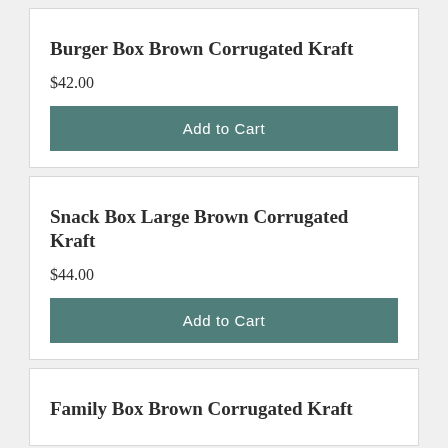Burger Box Brown Corrugated Kraft
$42.00
Add to Cart
Snack Box Large Brown Corrugated Kraft
$44.00
Add to Cart
Family Box Brown Corrugated Kraft